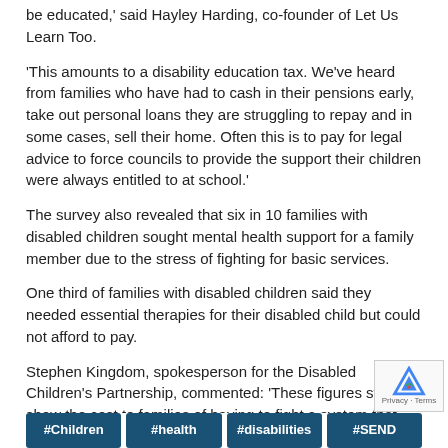be educated,' said Hayley Harding, co-founder of Let Us Learn Too.
'This amounts to a disability education tax. We've heard from families who have had to cash in their pensions early, take out personal loans they are struggling to repay and in some cases, sell their home. Often this is to pay for legal advice to force councils to provide the support their children were always entitled to at school.'
The survey also revealed that six in 10 families with disabled children sought mental health support for a family member due to the stress of fighting for basic services.
One third of families with disabled children said they needed essential therapies for their disabled child but could not afford to pay.
Stephen Kingdom, spokesperson for the Disabled Children's Partnership, commented: 'These figures starkly show the cost to families of having to fight a system that should be there to help their children. Parents shouldn't have to use their savings gaps in services that they have a right to expect.'
#Children
#health
#disabilities
#SEND